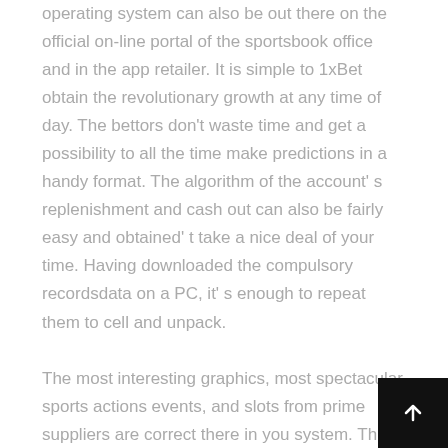operating system can also be out there on the official on-line portal of the sportsbook office and in the app retailer. It is simple to 1xBet obtain the revolutionary growth at any time of day. The bettors don't waste time and get a possibility to all the time make predictions in a handy format. The algorithm of the account' s replenishment and cash out can also be fairly easy and obtained' t take a nice deal of your time. Having downloaded the compulsory recordsdata on a PC, it' s enough to repeat them to cell and unpack.
The most interesting graphics, most spectacular sports actions events, and slots from prime suppliers are correct there in you system. This software program has a